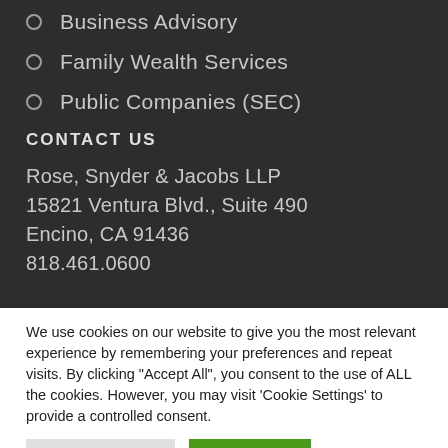Business Advisory
Family Wealth Services
Public Companies (SEC)
CONTACT US
Rose, Snyder & Jacobs LLP
15821 Ventura Blvd., Suite 490
Encino, CA 91436
818.461.0600
We use cookies on our website to give you the most relevant experience by remembering your preferences and repeat visits. By clicking "Accept All", you consent to the use of ALL the cookies. However, you may visit 'Cookie Settings' to provide a controlled consent.